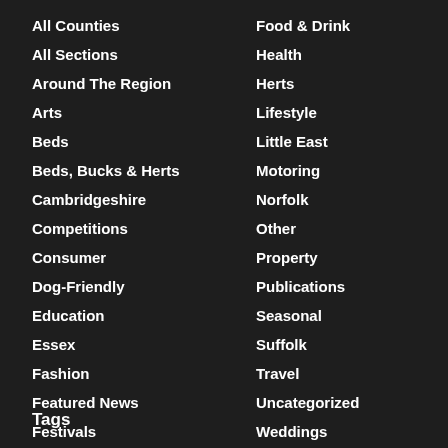All Counties
All Sections
Around The Region
Arts
Beds
Beds, Bucks & Herts
Cambridgeshire
Competitions
Consumer
Dog-Friendly
Education
Essex
Fashion
Featured News
Festivals
Food & Drink
Health
Herts
Lifestyle
Little East
Motoring
Norfolk
Other
Property
Publications
Seasonal
Suffolk
Travel
Uncategorized
Weddings
Tags